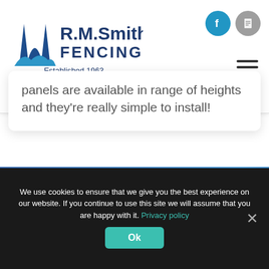[Figure (logo): R.M.Smith Fencing LLC logo with building icon and text 'Established 1963']
[Figure (other): Facebook and document icons in circles (top right), hamburger menu icon]
panels are available in range of heights and they're really simple to install!
Get in touch for your fencing and gate requirements.
We use cookies to ensure that we give you the best experience on our website. If you continue to use this site we will assume that you are happy with it. Privacy policy